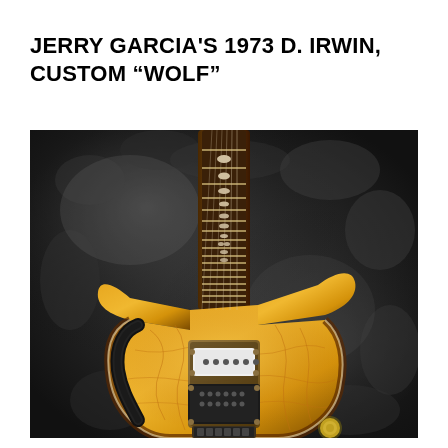JERRY GARCIA'S 1973 D. IRWIN, CUSTOM “WOLF”
[Figure (photo): Close-up photograph of Jerry Garcia's 1973 D. Irwin Custom 'Wolf' electric guitar. The guitar features a quilted maple top with an amber/orange sunburst finish, ornate inlays on the fretboard, and a black leather guitar strap. The body shows two pickups (one single-coil and one humbucker) with aged brass pickup rings. The guitar is resting against a dark black leather background/case.]